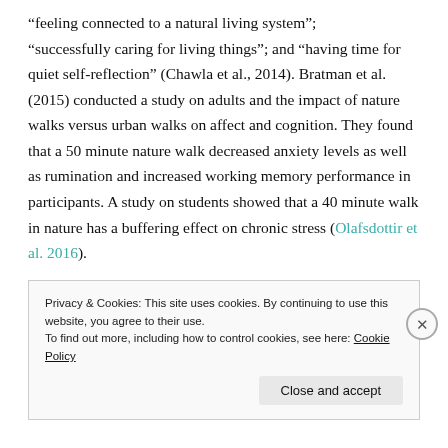“feeling connected to a natural living system”; “successfully caring for living things”; and “having time for quiet self-reflection” (Chawla et al., 2014). Bratman et al. (2015) conducted a study on adults and the impact of nature walks versus urban walks on affect and cognition. They found that a 50 minute nature walk decreased anxiety levels as well as rumination and increased working memory performance in participants. A study on students showed that a 40 minute walk in nature has a buffering effect on chronic stress (Olafsdottir et al. 2016).
Privacy & Cookies: This site uses cookies. By continuing to use this website, you agree to their use. To find out more, including how to control cookies, see here: Cookie Policy